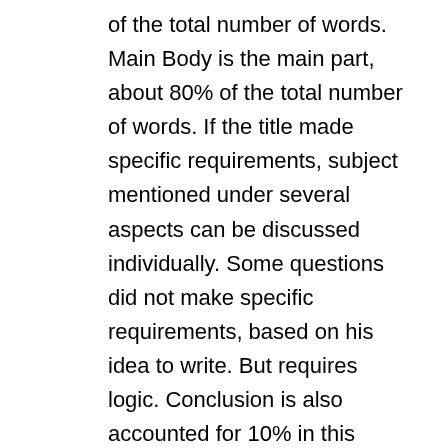of the total number of words. Main Body is the main part, about 80% of the total number of words. If the title made specific requirements, subject mentioned under several aspects can be discussed individually. Some questions did not make specific requirements, based on his idea to write. But requires logic. Conclusion is also accounted for 10% in this period where the main point of the article with one or two sentences summed up. Essay questions can not write, do not put subheadings bold. Reference two forms of writing is to be involved, and I said on the last detail. Report:     It is written in general and essay almost, but asked to be stricter. First: the title page: including the title and executive summary. In Executive summary is a summary of the article.